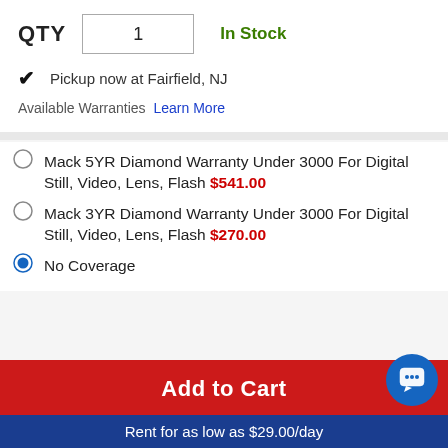QTY  1  In Stock
✓ Pickup now at Fairfield, NJ
Available Warranties Learn More
Mack 5YR Diamond Warranty Under 3000 For Digital Still, Video, Lens, Flash $541.00
Mack 3YR Diamond Warranty Under 3000 For Digital Still, Video, Lens, Flash $270.00
No Coverage
Add to Cart
Rent for as low as $29.00/day